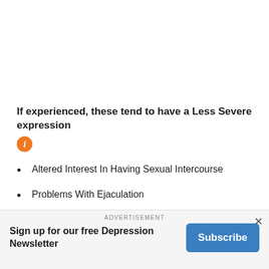If experienced, these tend to have a Less Severe expression
Altered Interest In Having Sexual Intercourse
Problems With Ejaculation
Agitation
Blurred Vision
Throat Irritation
ADVERTISEMENT
Sign up for our free Depression Newsletter